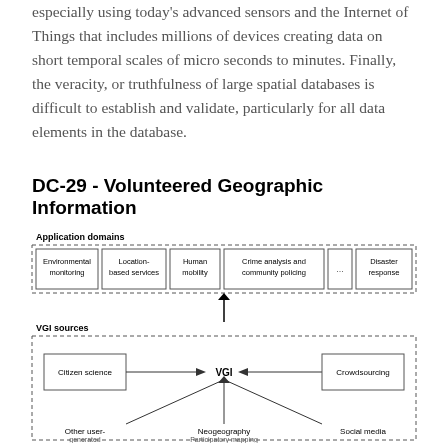especially using today's advanced sensors and the Internet of Things that includes millions of devices creating data on short temporal scales of micro seconds to minutes. Finally, the veracity, or truthfulness of large spatial databases is difficult to establish and validate, particularly for all data elements in the database.
DC-29 - Volunteered Geographic Information
[Figure (flowchart): Diagram showing VGI (Volunteered Geographic Information) structure. Top section labeled 'Application domains' with boxes: Environmental monitoring, Location-based services, Human mobility, Crime analysis and community policing, ..., Disaster response. An upward arrow connects to the VGI sources section below. Bottom section labeled 'VGI sources' with central node 'VGI' connected to: Citizen science (left), Crowdsourcing (right), Other user-generated (bottom-left), Neogeography / Participatory mapping (bottom-center), Social media (bottom-right).]